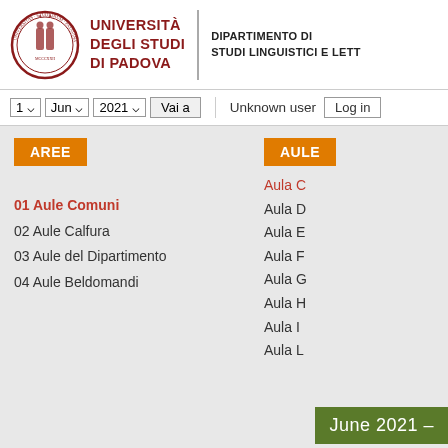[Figure (logo): Università degli Studi di Padova seal/logo — circular red medallion with figures]
UNIVERSITÀ DEGLI STUDI DI PADOVA
DIPARTIMENTO DI STUDI LINGUISTICI E LETT...
1  Jun  2021  Vai a    Unknown user  Log in
AREE
AULE
01 Aule Comuni
02 Aule Calfura
03 Aule del Dipartimento
04 Aule Beldomandi
Aula C
Aula D
Aula E
Aula F
Aula G
Aula H
Aula I
Aula L
June 2021 –